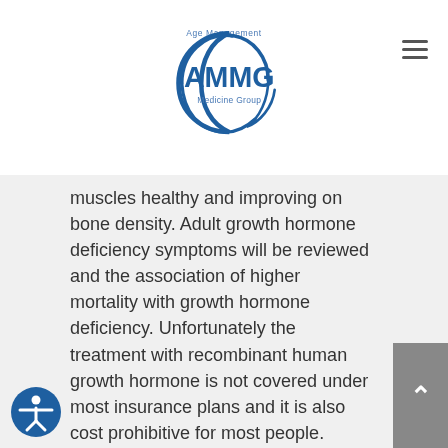[Figure (logo): Age Management Medicine Group (AMMG) logo with circular crescent shape and text]
muscles healthy and improving on bone density. Adult growth hormone deficiency symptoms will be reviewed and the association of higher mortality with growth hormone deficiency. Unfortunately the treatment with recombinant human growth hormone is not covered under most insurance plans and it is also cost prohibitive for most people. There is an alternative to the expensive recombinant human growth hormone mostly commonly used for boosting IGF-1 and has the